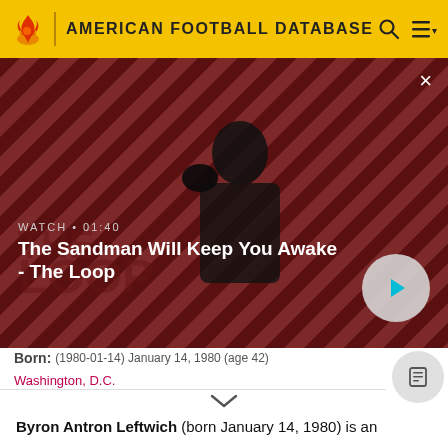AMERICAN FOOTBALL DATABASE
[Figure (screenshot): Video thumbnail for 'The Sandman Will Keep You Awake - The Loop' with a dark-cloaked figure against a red diagonal striped background. Shows WATCH • 01:40 label and a play button.]
Born: (1980-01-14) January 14, 1980 (age 42) Washington, D.C.
Byron Antron Leftwich (born January 14, 1980) is an